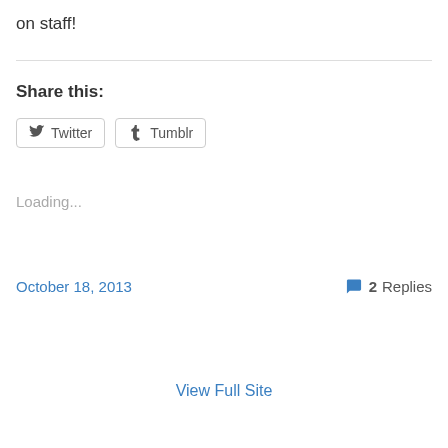on staff!
Share this:
[Figure (other): Twitter and Tumblr share buttons]
Loading...
October 18, 2013
2 Replies
View Full Site